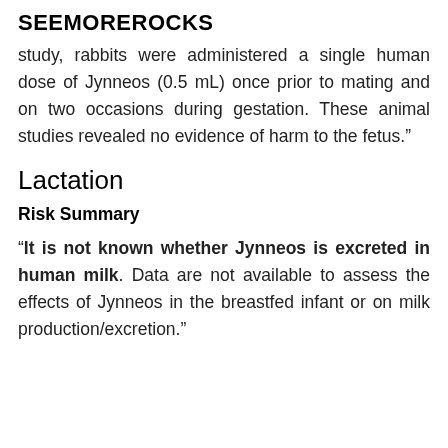SEEMOREROCKS
study, rabbits were administered a single human dose of Jynneos (0.5 mL) once prior to mating and on two occasions during gestation. These animal studies revealed no evidence of harm to the fetus.”
Lactation
Risk Summary
“It is not known whether Jynneos is excreted in human milk. Data are not available to assess the effects of Jynneos in the breastfed infant or on milk production/excretion.”